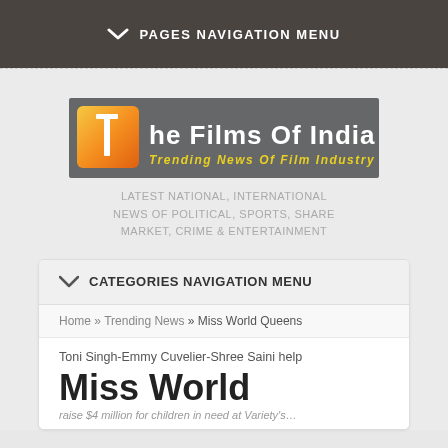PAGES NAVIGATION MENU
[Figure (logo): The Films Of India logo — grey background with orange letter T and white text 'he Films Of India', yellow italic tagline 'Trending News Of Film Industry']
LATEST NATIONAL, INTERNATIONAL NEWS OF POLITICAL, SPORTS, SHARE MARKET, CRIME & ENTERTAINMENT
CATEGORIES NAVIGATION MENU
Home » Trending News » Miss World Queens
Toni Singh-Emmy Cuvelier-Shree Saini help
Miss World